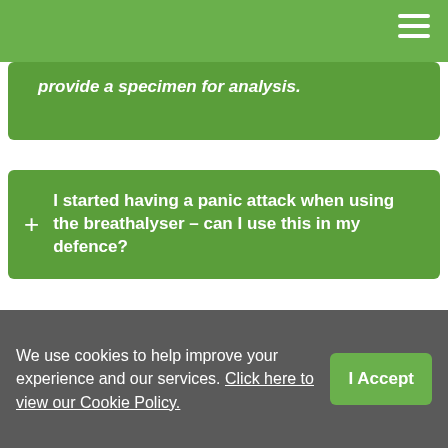provide a specimen for analysis.
I started having a panic attack when using the breathalyser – can I use this in my defence?
Can I appeal my trial if I lose?
We use cookies to help improve your experience and our services. Click here to view our Cookie Policy.